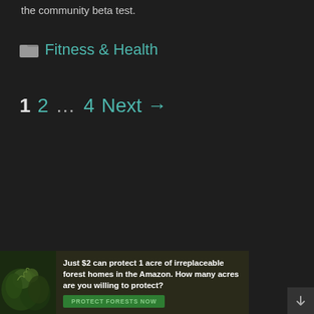the community beta test.
Fitness & Health
1  2  …  4  Next →
[Figure (other): Advertisement banner: green forest background with bird illustration on left. Text reads: 'Just $2 can protect 1 acre of irreplaceable forest homes in the Amazon. How many acres are you willing to protect?' with a green 'PROTECT FORESTS NOW' button.]